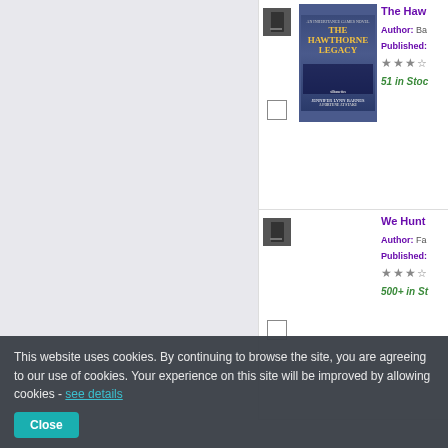[Figure (screenshot): Book listing for 'The Hawthorne Legacy' with book cover, author, published date, star rating (~3 stars), and '51 in Stock'. Book icon and checkbox visible.]
[Figure (screenshot): Book listing for 'We Hunt...' with book icon, author starting with 'Fa...', published date, star rating (~3 stars), and '500+ in St...' stock label. Checkbox visible.]
This website uses cookies. By continuing to browse the site, you are agreeing to our use of cookies. Your experience on this site will be improved by allowing cookies - see details